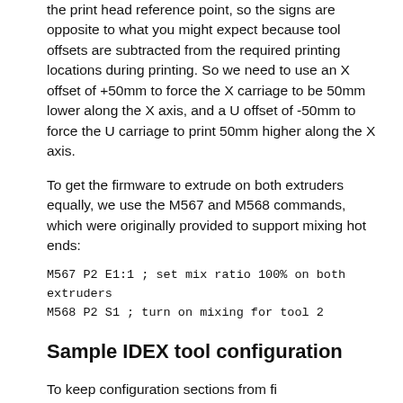the print head reference point, so the signs are opposite to what you might expect because tool offsets are subtracted from the required printing locations during printing. So we need to use an X offset of +50mm to force the X carriage to be 50mm lower along the X axis, and a U offset of -50mm to force the U carriage to print 50mm higher along the X axis.
To get the firmware to extrude on both extruders equally, we use the M567 and M568 commands, which were originally provided to support mixing hot ends:
M567 P2 E1:1 ; set mix ratio 100% on both extruders
M568 P2 S1 ; turn on mixing for tool 2
Sample IDEX tool configuration
To keep configuration sections from firing